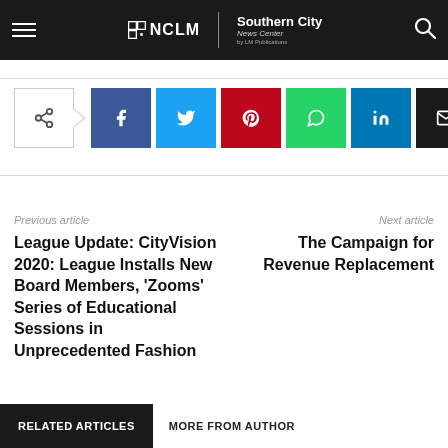NCLM | Southern City News Center
[Figure (infographic): Social share buttons: share icon, Facebook, Twitter, Pinterest, WhatsApp, LinkedIn, Email]
Previous article
League Update: CityVision 2020: League Installs New Board Members, 'Zooms' Series of Educational Sessions in Unprecedented Fashion
Next article
The Campaign for Revenue Replacement
RELATED ARTICLES   MORE FROM AUTHOR